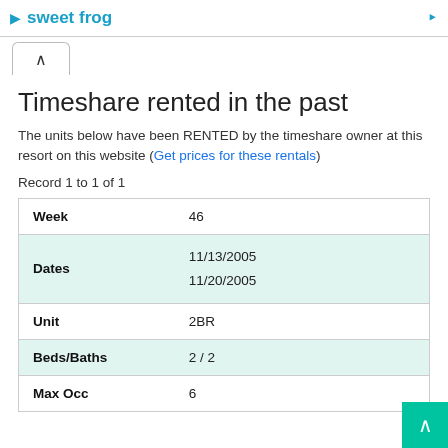sweet frog
Timeshare rented in the past
The units below have been RENTED by the timeshare owner at this resort on this website (Get prices for these rentals)
Record 1 to 1 of 1
| Field | Value |
| --- | --- |
| Week | 46 |
| Dates | 11/13/2005
11/20/2005 |
| Unit | 2BR |
| Beds/Baths | 2 / 2 |
| Max Occ | 6 |